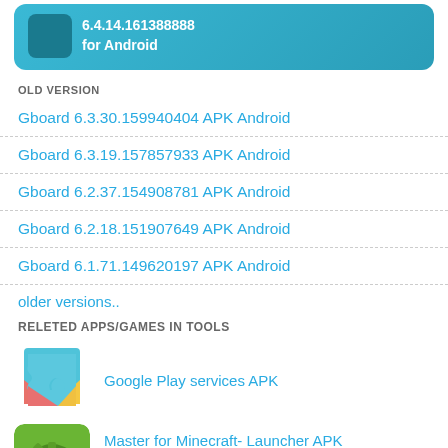[Figure (screenshot): Top banner with app icon and version text for Android app]
OLD VERSION
Gboard 6.3.30.159940404 APK Android
Gboard 6.3.19.157857933 APK Android
Gboard 6.2.37.154908781 APK Android
Gboard 6.2.18.151907649 APK Android
Gboard 6.1.71.149620197 APK Android
older versions..
RELETED APPS/GAMES IN TOOLS
[Figure (logo): Google Play services app icon]
Google Play services APK
[Figure (logo): Master for Minecraft- Launcher app icon]
Master for Minecraft- Launcher APK